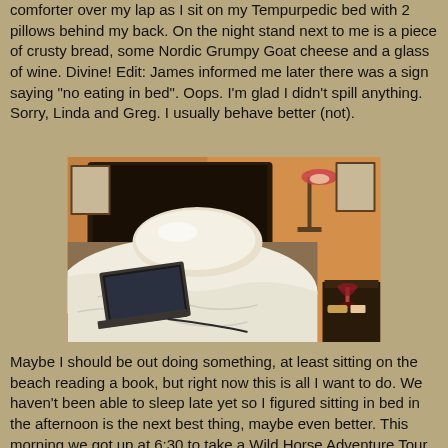comforter over my lap as I sit on my Tempurpedic bed with 2 pillows behind my back.  On the night stand next to me is a piece of crusty bread, some Nordic Grumpy Goat cheese and a glass of wine.  Divine!  Edit:  James informed me later there was a sign saying "no eating in bed".  Oops.  I'm glad I didn't spill anything.  Sorry, Linda and Greg.  I usually behave better (not).
[Figure (photo): A hotel bed with white pillows and rumpled white bedding. A laptop computer is open on the bed. A wall-mounted lamp is visible on the right, and a nightstand with a glass of wine and food items is next to the bed. The walls are orange/tan colored.]
Maybe I should be out doing something, at least sitting on the beach reading a book, but right now this is all I want to do.  We haven't been able to sleep late yet so I figured sitting in bed in the afternoon is the next best thing, maybe even better.  This morning we got up at 6:30 to take a Wild Horse Adventure Tour.  The tour guide was quite the entertainer and didn't seem to ever get tired of talking.  We gave him a tip even though I bit all my nails off on the jeep ride back on